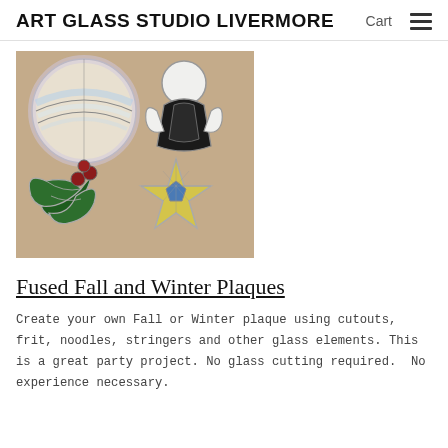ART GLASS STUDIO LIVERMORE   Cart  ≡
[Figure (photo): Photograph of stained glass ornaments on a tan/beige background: a round iridescent circle, a black and white angel figure, a green holly leaf with red berries, and a yellow star with a blue center.]
Fused Fall and Winter Plaques
Create your own Fall or Winter plaque using cutouts,  frit, noodles, stringers and other glass elements. This  is a great party project. No glass cutting required.  No experience necessary.